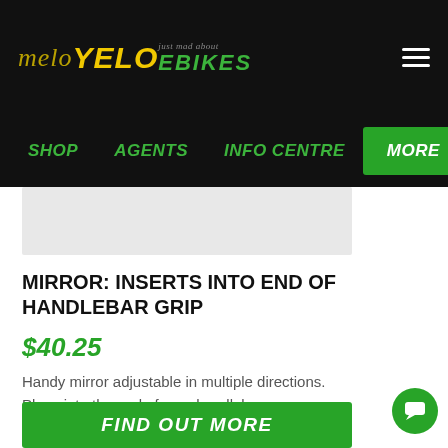melo YELO just mad about EBIKES
SHOP   AGENTS   INFO CENTRE   MORE
[Figure (photo): Product image area - light gray placeholder box for mirror product photo]
MIRROR: INSERTS INTO END OF HANDLEBAR GRIP
$40.25
Handy mirror adjustable in multiple directions. Plugs into the end of your handlebar.
FIND OUT MORE